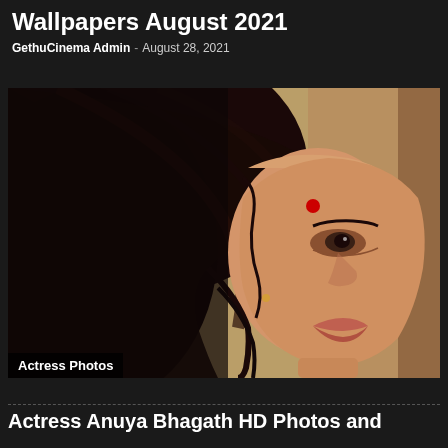Wallpapers August 2021
GethuCinema Admin - August 28, 2021
[Figure (photo): Portrait close-up photo of an Indian actress with long dark flowing hair, red bindi on forehead, looking at the camera. Background is beige/tan colored wall. Woman has subtle makeup, small earring visible.]
Actress Photos
Actress Anuya Bhagath HD Photos and